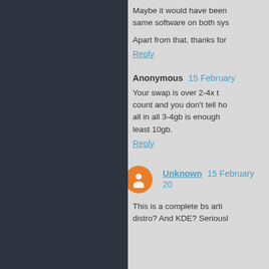Maybe it would have been same software on both sys...
Apart from that, thanks for...
Reply
Anonymous  15 February ...
Your swap is over 2-4x t... count and you don't tell ho... all in all 3-4gb is enough... least 10gb.
Reply
Unknown  15 February 20...
This is a complete bs arti... distro? And KDE? Seriousl...